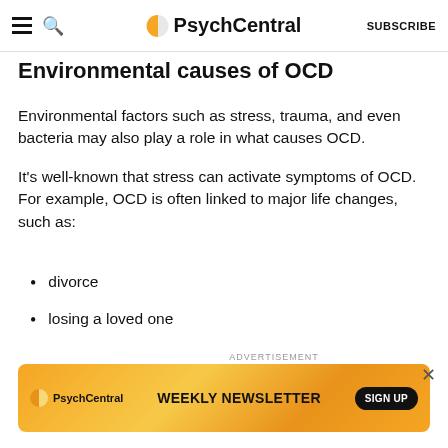PsychCentral | SUBSCRIBE
Environmental causes of OCD
Environmental factors such as stress, trauma, and even bacteria may also play a role in what causes OCD.
It's well-known that stress can activate symptoms of OCD. For example, OCD is often linked to major life changes, such as:
divorce
losing a loved one
school difficulties
relationship issues
[Figure (infographic): PsychCentral Weekly Newsletter advertisement banner with orange/yellow gradient background, PsychCentral logo on left, 'WEEKLY NEWSLETTER' headline in center, and 'SIGN UP' button on right. An X close button appears at top right of the ad area.]